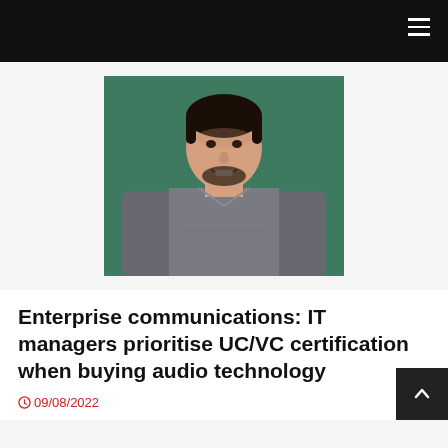Navigation bar with hamburger menu
[Figure (photo): Portrait photo of a young man with short dark hair and beard, wearing a grey knit sweater, smiling, standing against a dark green background]
Enterprise communications: IT managers prioritise UC/VC certification when buying audio technology
09/08/2022